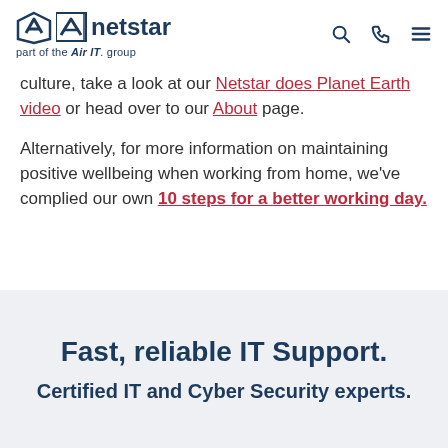netstar – part of the Air IT group
culture, take a look at our Netstar does Planet Earth video or head over to our About page.
Alternatively, for more information on maintaining positive wellbeing when working from home, we've complied our own 10 steps for a better working day.
Fast, reliable IT Support.
Certified IT and Cyber Security experts.